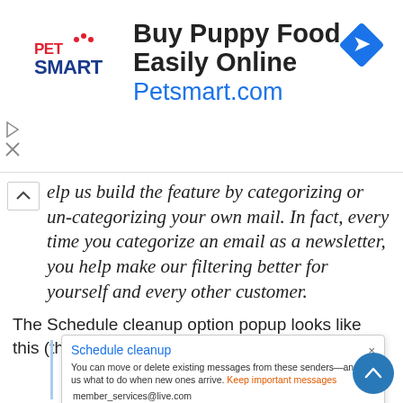[Figure (screenshot): PetSmart advertisement banner: logo on left, 'Buy Puppy Food Easily Online' title, 'Petsmart.com' URL in blue, blue diamond arrow icon on right]
elp us build the feature by categorizing or un-categorizing your own mail. In fact, every time you categorize an email as a newsletter, you help make our filtering better for yourself and every other customer.
The Schedule cleanup option popup looks like this (this has been there for some time now):
[Figure (screenshot): Schedule cleanup popup dialog showing title 'Schedule cleanup', close X button, body text 'You can move or delete existing messages from these senders—and tell us what to do when new ones arrive. Keep important messages', email 'member_services@live.com', radio options 'Only keep the latest message from this sender' (selected) and 'Delete all messages older than 10 days']